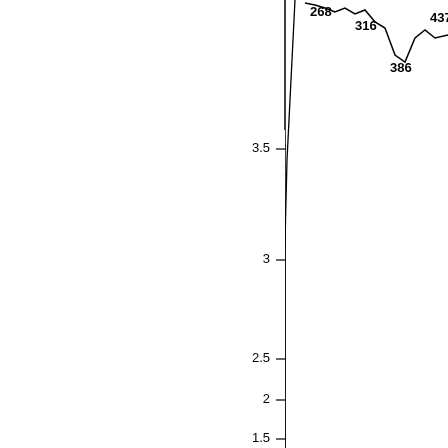[Figure (continuous-plot): Partial view of a spectroscopy or absorption chart. The y-axis shows values from approximately 1.5 to 3.5. A nearly vertical line runs along the left portion of the visible chart area. In the upper right corner, labeled peaks/troughs are visible at wavelengths 268, 316, 386, and 437.]